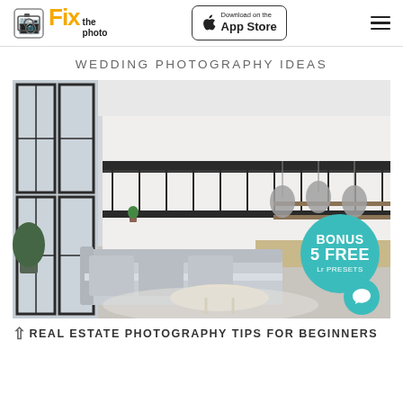[Figure (logo): Fix the Photo logo with camera icon and orange/black text]
[Figure (other): Download on the App Store button]
WEDDING PHOTOGRAPHY IDEAS
[Figure (photo): Modern bright loft interior with large windows, mezzanine level, light grey sectional sofa, pendant lights, kitchen in background. Overlaid with teal circle badge saying BONUS 5 FREE Lr PRESETS.]
REAL ESTATE PHOTOGRAPHY TIPS FOR BEGINNERS